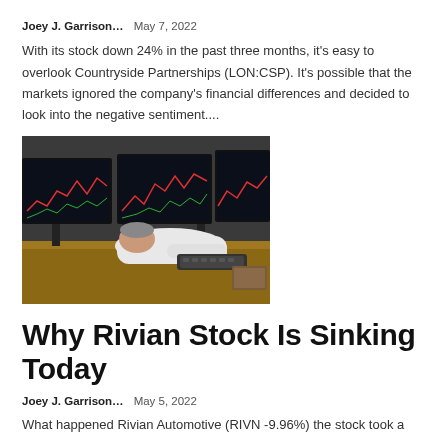Joey J. Garrison…   May 7, 2022
With its stock down 24% in the past three months, it's easy to overlook Countryside Partnerships (LON:CSP). It's possible that the markets ignored the company's financial differences and decided to look into the negative sentiment....
[Figure (photo): A man in a white shirt slumped over a desk with multiple stock trading monitors displaying red line charts in the background, along with a keyboard on the desk.]
Why Rivian Stock Is Sinking Today
Joey J. Garrison…   May 5, 2022
What happened Rivian Automotive (RIVN -9.96%) the stock took a